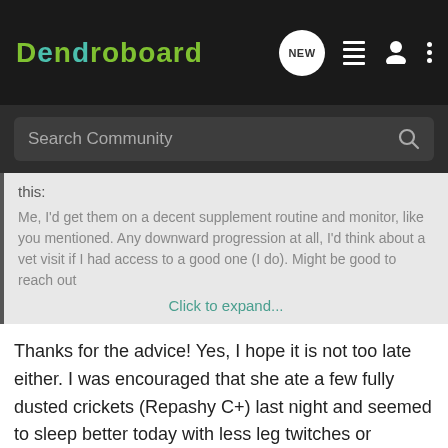Dendroboard
Search Community
this:
Me, I'd get them on a decent supplement routine and monitor, like you mentioned. Any downward progression at all, I'd think about a vet visit if I had access to a good one (I do). Might be good to reach out
Click to expand...
Thanks for the advice! Yes, I hope it is not too late either. I was encouraged that she ate a few fully dusted crickets (Repashy C+) last night and seemed to sleep better today with less leg twitches or moving around the cage. When observing her, she has good control and motor skills so I think this new regimen will give her a great shot at total recovery. I'll keep you all posted as the weeks go. :]
Socratic Monologue